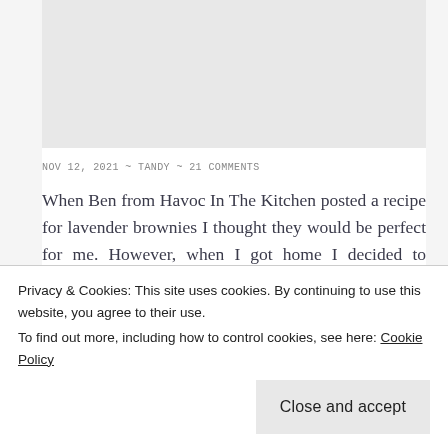[Figure (photo): Placeholder image area at top of blog post, light gray rectangle]
NOV 12, 2021 ~ TANDY ~ 21 COMMENTS
When Ben from Havoc In The Kitchen posted a recipe for lavender brownies I thought they would be perfect for me. However, when I got home I decided to change the recipe
Privacy & Cookies: This site uses cookies. By continuing to use this website, you agree to their use.
To find out more, including how to control cookies, see here: Cookie Policy
Close and accept